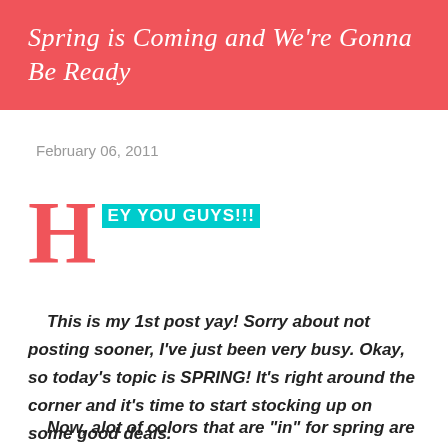Spring is Coming and We're Gonna Be Ready
February 06, 2011
HEY YOU GUYS!!!
This is my 1st post yay! Sorry about not posting sooner, I've just been very busy. Okay, so today's topic is SPRING! It's right around the corner and it's time to start stocking up on some good deals.
Now, alot of colors that are "in" for spring are pastels like yellow and coral pink and periwinkle. However, you can